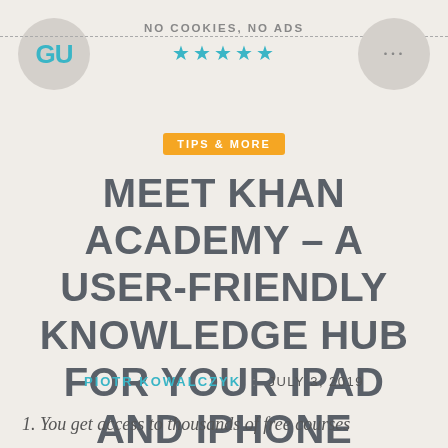NO COOKIES, NO ADS ★★★★★
TIPS & MORE
MEET KHAN ACADEMY – A USER-FRIENDLY KNOWLEDGE HUB FOR YOUR IPAD AND IPHONE
PIOTR KOWALCZYK : JULY 3, 2019
1. You get access to thousands of free courses